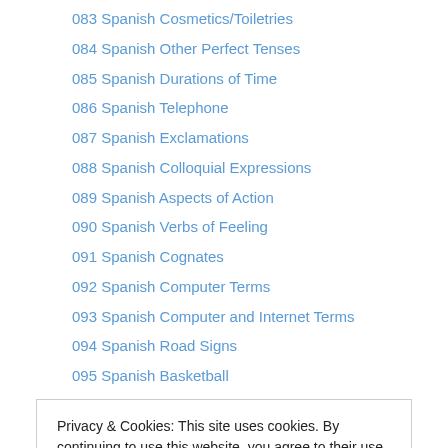083 Spanish Cosmetics/Toiletries
084 Spanish Other Perfect Tenses
085 Spanish Durations of Time
086 Spanish Telephone
087 Spanish Exclamations
088 Spanish Colloquial Expressions
089 Spanish Aspects of Action
090 Spanish Verbs of Feeling
091 Spanish Cognates
092 Spanish Computer Terms
093 Spanish Computer and Internet Terms
094 Spanish Road Signs
095 Spanish Basketball
Privacy & Cookies: This site uses cookies. By continuing to use this website, you agree to their use. To find out more, including how to control cookies, see here: Cookie Policy
102 Spanish Soap Operas